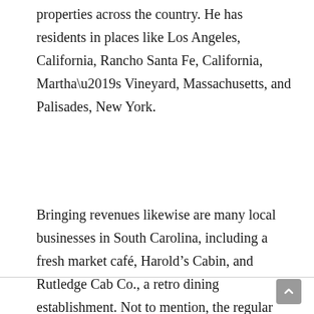properties across the country. He has residents in places like Los Angeles, California, Rancho Santa Fe, California, Martha’s Vineyard, Massachusetts, and Palisades, New York.
Bringing revenues likewise are many local businesses in South Carolina, including a fresh market café, Harold’s Cabin, and Rutledge Cab Co., a retro dining establishment. Not to mention, the regular investments in minor league baseball.